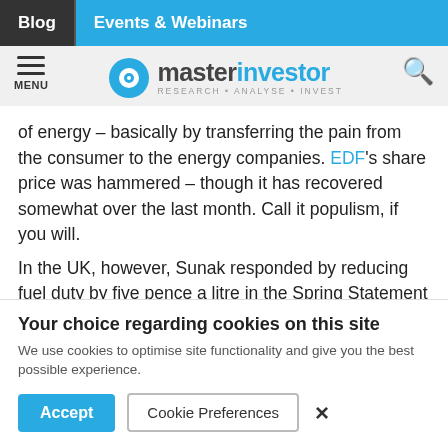Blog | Events & Webinars
[Figure (logo): Master Investor logo with tagline RESEARCH · ANALYSE · INVEST]
of energy – basically by transferring the pain from the consumer to the energy companies. EDF's share price was hammered – though it has recovered somewhat over the last month. Call it populism, if you will.

In the UK, however, Sunak responded by reducing fuel duty by five pence a litre in the Spring Statement (24 March) – a
Your choice regarding cookies on this site
We use cookies to optimise site functionality and give you the best possible experience.